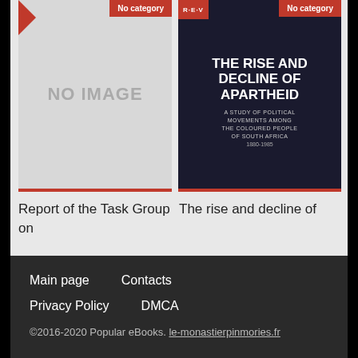[Figure (other): Book card with no image placeholder showing 'NO IMAGE' text and a red 'No category' badge]
[Figure (other): Book cover for 'The Rise and Decline of Apartheid: A Study of Political Movements Among the Coloured People of South Africa 1880-1985' with REV logo and red 'No category' badge]
Report of the Task Group on
The rise and decline of
Main page   Contacts   Privacy Policy   DMCA   ©2016-2020 Popular eBooks. le-monastierpinmories.fr